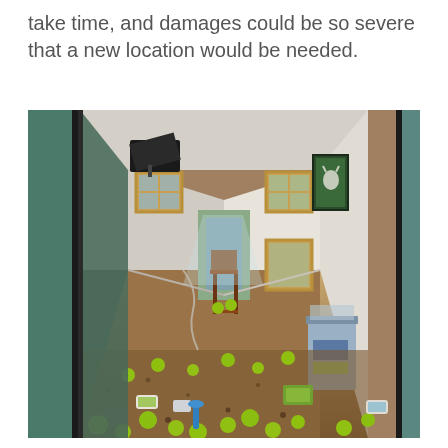take time, and damages could be so severe that a new location would be needed.
[Figure (photo): Interior hallway of a building damaged by flooding. The corridor floor is covered in mud/gravel and scattered green tennis balls, cans, and debris. A trash bin sits against the right wall. Windows with wooden frames line both walls. A chair is visible mid-hallway. The ceiling and TV mount on the left wall show damage. A door at the far end is open, letting in light.]